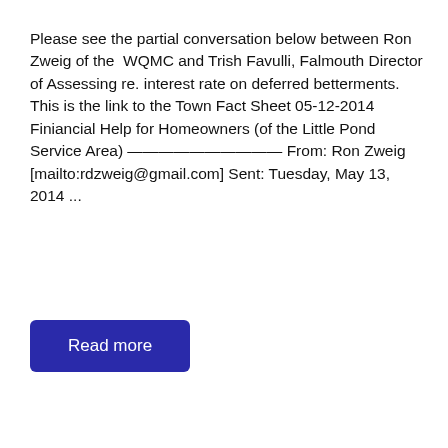Please see the partial conversation below between Ron Zweig of the  WQMC and Trish Favulli, Falmouth Director of Assessing re. interest rate on deferred betterments. This is the link to the Town Fact Sheet 05-12-2014 Finiancial Help for Homeowners (of the Little Pond Service Area) ——————————— From: Ron Zweig [mailto:rdzweig@gmail.com] Sent: Tuesday, May 13, 2014 ...
Read more